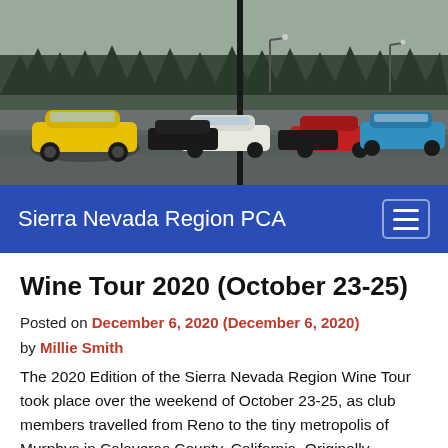[Figure (photo): A rainy parking lot with numerous Porsche vehicles including a yellow 911, red cars, and other sports cars parked together, with pine trees and overcast sky in the background. Sierra Nevada Region PCA event photo.]
Sierra Nevada Region PCA
Wine Tour 2020 (October 23-25)
Posted on December 6, 2020 (December 6, 2020) by Millie Smith
The 2020 Edition of the Sierra Nevada Region Wine Tour took place over the weekend of October 23-25, as club members travelled from Reno to the tiny metropolis of Murphys in Calaveras County, California. Originally scheduled for August, the California wild fires and falling ash forced a